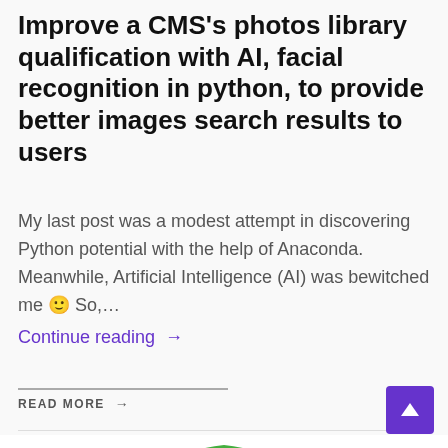Improve a CMS's photos library qualification with AI, facial recognition in python, to provide better images search results to users
My last post was a modest attempt in discovering Python potential with the help of Anaconda. Meanwhile, Artificial Intelligence (AI) was bewitched me 🙂 So,…
Continue reading →
READ MORE →
[Figure (logo): Partial green circular logo with mosaic/pixel pattern, partially visible at the bottom of the page]